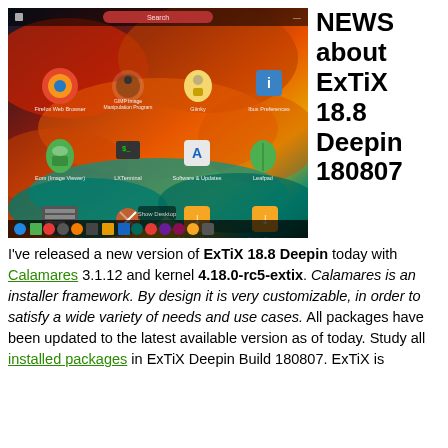[Figure (screenshot): Screenshot of ExTiX 18.8 Deepin desktop showing app launcher with icons including Firefox Web Browser, GIMP Image Manipulation Program, Giinky, Ibus Preferences, Eom (Image Viewer), LXTerminal, Software & Updates, Hardware Lister (lshw), and taskbar at bottom.]
NEWS about ExTiX 18.8 Deepin 180807
I've released a new version of ExTiX 18.8 Deepin today with Calamares 3.1.12 and kernel 4.18.0-rc5-extix. Calamares is an installer framework. By design it is very customizable, in order to satisfy a wide variety of needs and use cases. All packages have been updated to the latest available version as of today. Study all installed packages in ExTiX Deepin Build 180807. ExTiX is